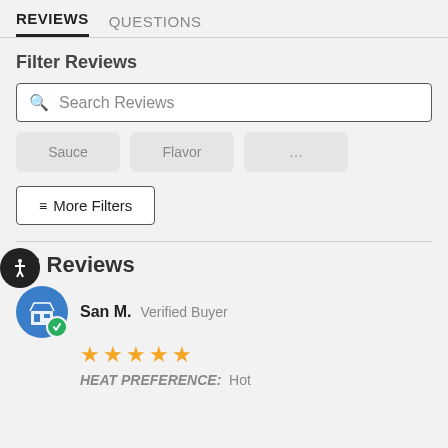REVIEWS   QUESTIONS
Filter Reviews
Search Reviews
Sauce
Flavor
...
≡ More Filters
56 Reviews
San M.  Verified Buyer
[Figure (other): 5 yellow stars rating]
HEAT PREFERENCE:  Hot